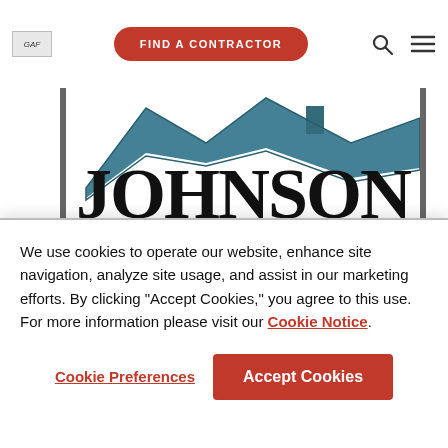[Figure (logo): GAF logo in top left corner]
[Figure (screenshot): Navigation bar with FIND A CONTRACTOR red pill button, search icon, and hamburger menu icon]
[Figure (logo): Johnson roofing company logo with teal house roof silhouette above large bold JOHNSON text and gold arc ribbon with Master Elite badge]
We use cookies to operate our website, enhance site navigation, analyze site usage, and assist in our marketing efforts. By clicking "Accept Cookies," you agree to this use. For more information please visit our Cookie Notice.
Cookie Preferences
Accept Cookies